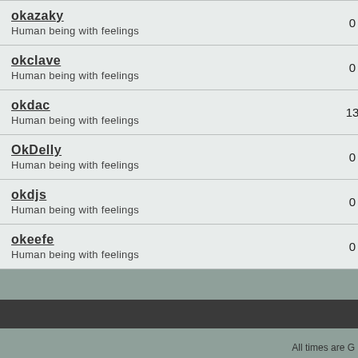| User | Count |
| --- | --- |
| okazaky
Human being with feelings | 0 |
| okclave
Human being with feelings | 0 |
| okdac
Human being with feelings | 13 |
| OkDelly
Human being with feelings | 0 |
| okdjs
Human being with feelings | 0 |
| okeefe
Human being with feelings | 0 |
All times are G